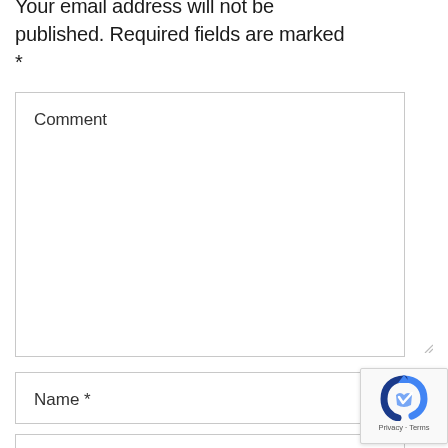Your email address will not be published. Required fields are marked *
Comment
Name *
[Figure (logo): Google reCAPTCHA badge with reCAPTCHA logo icon, 'Privacy' and 'Terms' links at the bottom]